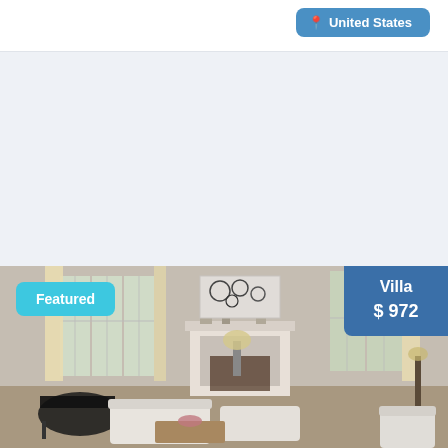United States
Featured Properties
Find the latest homes for sale, property news & real estate market data
[Figure (photo): Interior photo of a luxury living room with a grand piano, white sofas, fireplace, large windows with curtains, and decorative wall art. A 'Featured' badge in cyan is overlaid on the top-left. A 'Villa $972' badge in dark blue is overlaid on the top-right.]